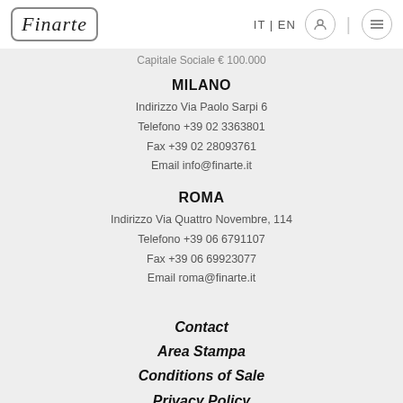Finarte | IT | EN
Capitale Sociale € 100.000
MILANO
Indirizzo Via Paolo Sarpi 6
Telefono +39 02 3363801
Fax +39 02 28093761
Email info@finarte.it
ROMA
Indirizzo Via Quattro Novembre, 114
Telefono +39 06 6791107
Fax +39 06 69923077
Email roma@finarte.it
Contact
Area Stampa
Conditions of Sale
Privacy Policy